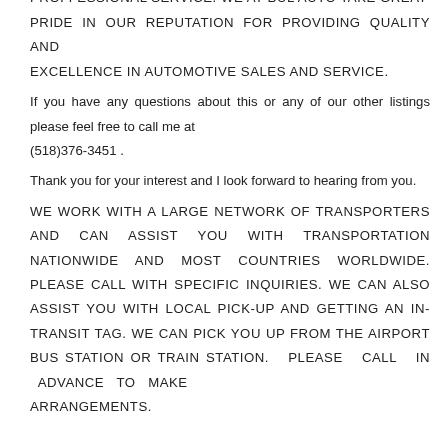CUSTOMERS TO DUE TO OUR PERSONAL AND PROFFESSIONAL SERVICE. WE AT BUL AUTO TAKE GREAT PRIDE IN OUR REPUTATION FOR PROVIDING QUALITY AND EXCELLENCE IN AUTOMOTIVE SALES AND SERVICE.
If you have any questions about this or any of our other listings please feel free to call me at
(518)376-3451 .
Thank you for your interest and I look forward to hearing from you.
WE WORK WITH A LARGE NETWORK OF TRANSPORTERS AND CAN ASSIST YOU WITH TRANSPORTATION NATIONWIDE AND MOST COUNTRIES WORLDWIDE. PLEASE CALL WITH SPECIFIC INQUIRIES. WE CAN ALSO ASSIST YOU WITH LOCAL PICK-UP AND GETTING AN IN-TRANSIT TAG. WE CAN PICK YOU UP FROM THE AIRPORT BUS STATION OR TRAIN STATION. PLEASE CALL IN ADVANCE TO MAKE ARRANGEMENTS.